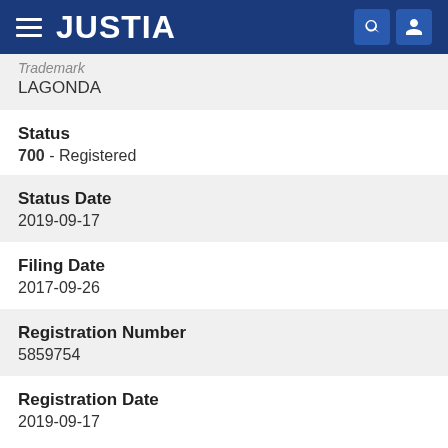JUSTIA
LAGONDA
Status
700 - Registered
Status Date
2019-09-17
Filing Date
2017-09-26
Registration Number
5859754
Registration Date
2019-09-17